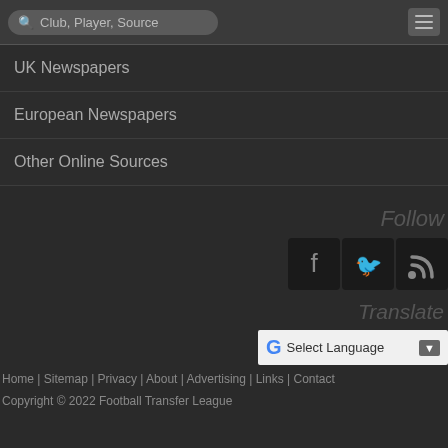Club, Player, Source
UK Newspapers
European Newspapers
Other Online Sources
Follow
[Figure (illustration): Social media icons: Facebook, Twitter, RSS feed]
Translate
[Figure (screenshot): Google Translate widget with Select Language dropdown]
Home | Sitemap | Privacy | About | Advertising | Links | Contact
Copyright © 2022 Football Transfer League